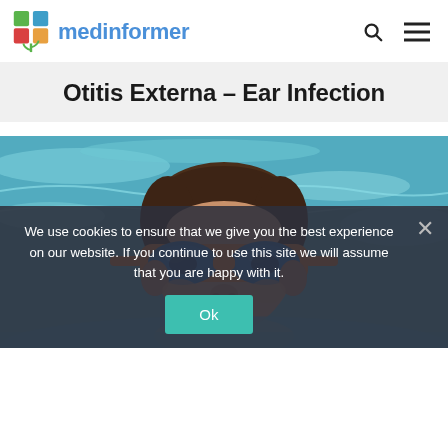medinformer
Otitis Externa – Ear Infection
[Figure (photo): Child swimming in a pool wearing blue and orange swimming goggles, looking up at the camera with mouth open, water visible in background]
We use cookies to ensure that we give you the best experience on our website. If you continue to use this site we will assume that you are happy with it.